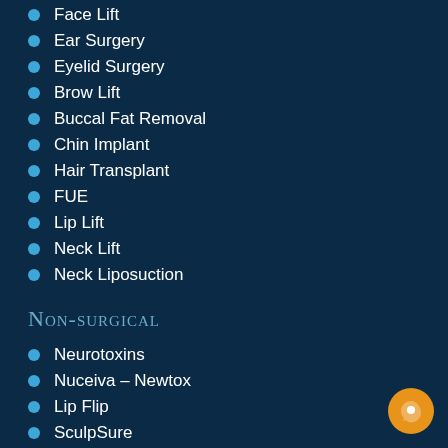Face Lift
Ear Surgery
Eyelid Surgery
Brow Lift
Buccal Fat Removal
Chin Implant
Hair Transplant
FUE
Lip Lift
Neck Lift
Neck Liposuction
Non-surgical
Neurotoxins
Nuceiva – Newtox
Lip Flip
SculpSure
FlexSure
TempSure